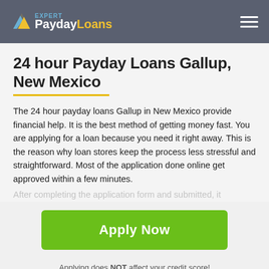PaydayLoans EXPERT
24 hour Payday Loans Gallup, New Mexico
The 24 hour payday loans Gallup in New Mexico provide financial help. It is the best method of getting money fast. You are applying for a loan because you need it right away. This is the reason why loan stores keep the process less stressful and straightforward. Most of the application done online get approved within a few minutes.
After completing the application form and submitted, it
[Figure (other): Green Apply Now button]
Applying does NOT affect your credit score!
No credit check to apply.